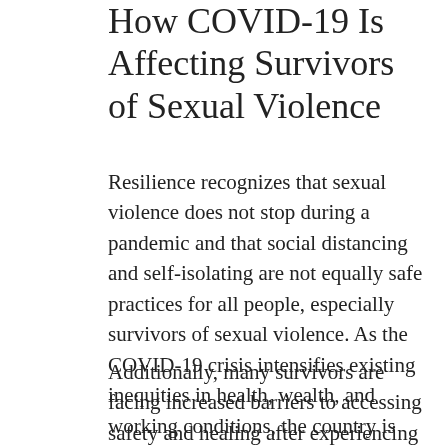How COVID-19 Is Affecting Survivors of Sexual Violence
Resilience recognizes that sexual violence does not stop during a pandemic and that social distancing and self-isolating are not equally safe practices for all people, especially survivors of sexual violence. As the COVID-19 crisis intensifies existing inequities in health, wealth, and working conditions, the country is seeing more people in power target those who cannot afford basic needs such as food or rent.
Additionally, many survivors are facing increased barriers to accessing safety and healing after experiencing a sexual assault, including new fears related to seeking